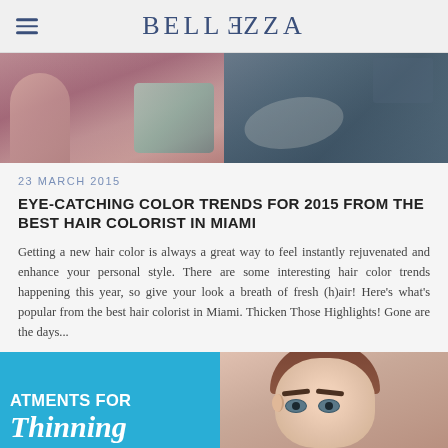BELLEZZA
[Figure (photo): Hero banner image showing fashion/beauty photography on left (skin/hair color) and ocean/nature scene on right]
23 MARCH 2015
EYE-CATCHING COLOR TRENDS FOR 2015 FROM THE BEST HAIR COLORIST IN MIAMI
Getting a new hair color is always a great way to feel instantly rejuvenated and enhance your personal style. There are some interesting hair color trends happening this year, so give your look a breath of fresh (h)air! Here's what's popular from the best hair colorist in Miami. Thicken Those Highlights! Gone are the days...
READ THE ARTICLE
[Figure (photo): Partial preview of next article: blue background with text 'ATMENTS FOR Thinning' on left, and a close-up face photo of a woman on right]